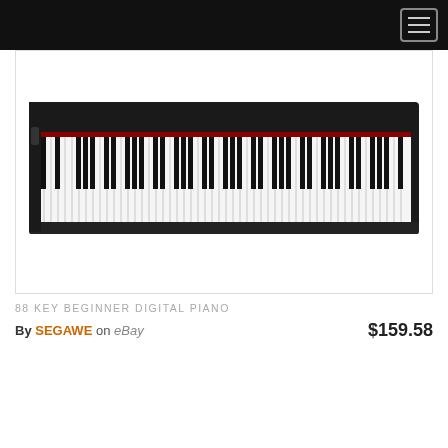Navigation bar with hamburger menu
[Figure (photo): 88 key beginner digital piano keyboard shown at an angle from above, black body with white and black keys, on a white background]
88 KEY BEGINNER DIGITAL PIANO
By SEGAWE on eBay  $159.58